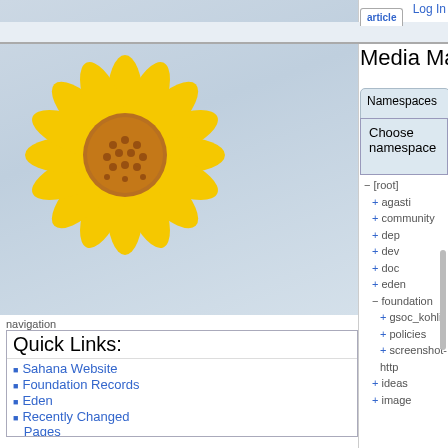[Figure (illustration): Sunflower logo/illustration on grey-blue gradient background, positioned in upper left sidebar area]
navigation
Quick Links:
Sahana Website
Foundation Records
Eden
Recently Changed Pages
search
toolbox
What links here
Recent Changes
Media Manager
Site index
Log In | article | discussion | show pagesource
Media Manager
Namespaces
Media Files | Upload
Files in foundation
Thumbnails | Name | Date
[root]
+ agasti
+ community
+ dep
+ dev
+ doc
+ eden
- foundation
  + gsoc_kohli
  + policies
  + screenshot-http
+ ideas
+ image
[Figure (screenshot): Thumbnail image 1.jpg showing a green diagram/schematic, 858×572, 2010/06/17 11:00, 34.9 KB]
1.jpg
858×572
2010/06/17
11:00
34.9 KB